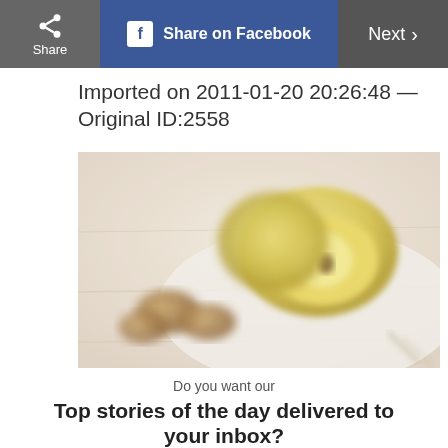Share  |  Share on Facebook  |  Next ›
Imported on 2011-01-20 20:26:48 — Original ID:2558
[Figure (photo): Close-up photo of halved apples and nuts on a white surface, blurred background]
Do you want our
Top stories of the day delivered to your inbox?
YES PLEASE!
NO THANKS